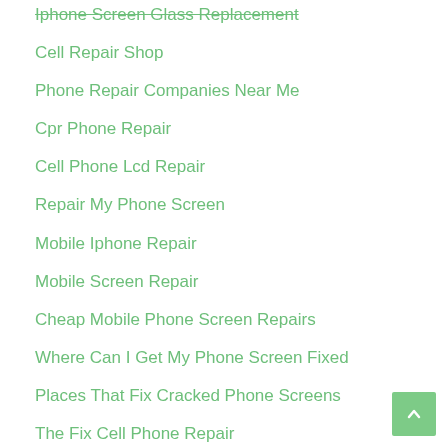Iphone Screen Glass Replacement
Cell Repair Shop
Phone Repair Companies Near Me
Cpr Phone Repair
Cell Phone Lcd Repair
Repair My Phone Screen
Mobile Iphone Repair
Mobile Screen Repair
Cheap Mobile Phone Screen Repairs
Where Can I Get My Phone Screen Fixed
Places That Fix Cracked Phone Screens
The Fix Cell Phone Repair
Samsung S4 Repair
Motorola Cell Phone Repair